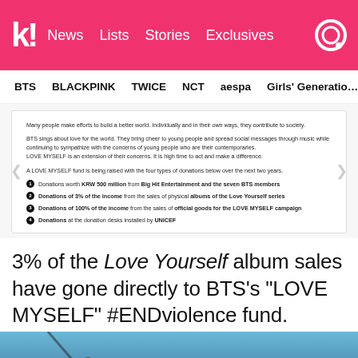k! News | Lists | Stories | Exclusives
BTS | BLACKPINK | TWICE | NCT | aespa | Girls' Generation
[Figure (screenshot): Article excerpt showing LOVE MYSELF campaign donation details with 4 numbered bullet points]
3% of the Love Yourself album sales have gone directly to BTS's "LOVE MYSELF" #ENDviolence fund.
[Figure (photo): Photo strip showing BTS members against a blue background]